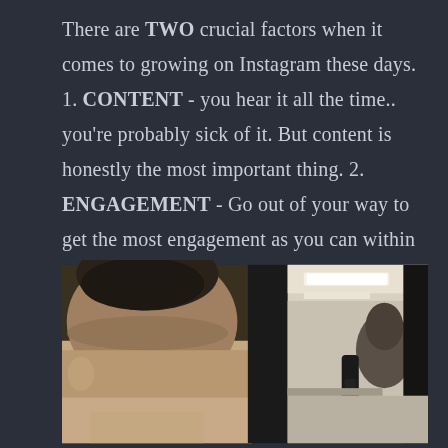There are TWO crucial factors when it comes to growing on Instagram these days. 1. CONTENT - you hear it all the time.. you're probably sick of it. But content is honestly the most important thing. 2. ENGAGEMENT - Go out of your way to get the most engagement as you can within the first
[Figure (photo): A barber shop scene showing a man with a fade haircut (hair pulled up on top, shaved sides) viewed from the back. A barber's hands hold clippers near the client's head. A large mirror reflects the barbershop interior with overhead fluorescent lighting and another person in the background.]